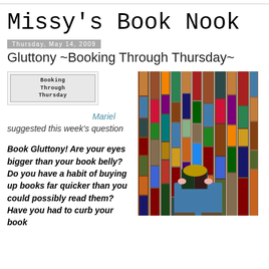Missy's Book Nook
Thursday, May 14, 2009
Gluttony ~Booking Through Thursday~
[Figure (logo): Booking Through Thursday logo badge]
Mariel suggested this week's question
Book Gluttony! Are your eyes bigger than your book belly? Do you have a habit of buying up books far quicker than you could possibly read them? Have you had to curb your book
[Figure (photo): A person sitting among tall stacks of books piled against a wall, reading a book]